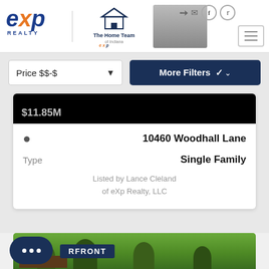[Figure (logo): eXp Realty logo with orange X and blue text, alongside The Home Team logo and agent photos]
Price $$-$
More Filters
$11,85M
10460 Woodhall Lane
Type
Single Family
Listed by Lance Cleland of eXp Realty, LLC
[Figure (photo): Partial photo of a waterfront property with trees visible, labeled WATERFRONT]
RFRONT